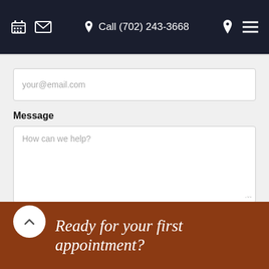Call (702) 243-3668
your@email.com
Message
How can we help?
SEND
Ready for your first appointment?